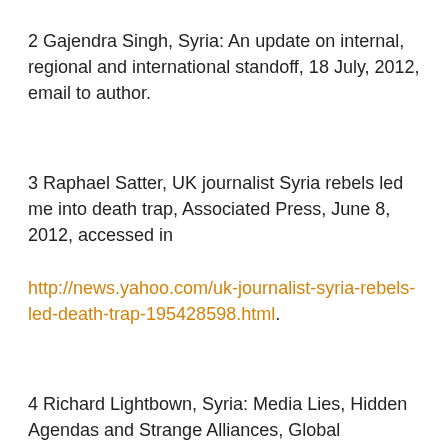2 Gajendra Singh, Syria: An update on internal, regional and international standoff, 18 July, 2012, email to author.
3 Raphael Satter, UK journalist Syria rebels led me into death trap, Associated Press, June 8, 2012, accessed in http://news.yahoo.com/uk-journalist-syria-rebels-led-death-trap-195428598.html.
4 Richard Lightbown, Syria: Media Lies, Hidden Agendas and Strange Alliances, Global Research, June 18, 2012, accessed in http://www.globalresearch.ca/index.php?context=va&aid=31491